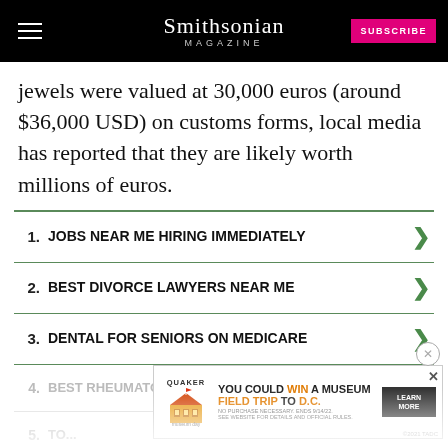Smithsonian MAGAZINE
jewels were valued at 30,000 euros (around $36,000 USD) on customs forms, local media has reported that they are likely worth millions of euros.
1. JOBS NEAR ME HIRING IMMEDIATELY
2. BEST DIVORCE LAWYERS NEAR ME
3. DENTAL FOR SENIORS ON MEDICARE
4. BEST RHEUMATOLOGY DOCTOR
5. TO...
[Figure (screenshot): Quaker Museum Day advertisement banner: YOU COULD WIN A MUSEUM FIELD TRIP TO D.C. LEARN MORE]